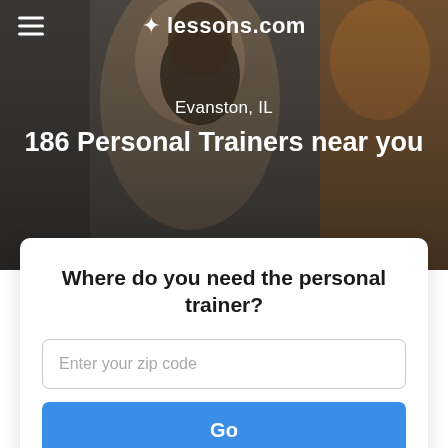[Figure (screenshot): Hero background image showing gym/fitness scene with a woman with braided hair in foreground and person in orange jacket on right, overlaid with dark semi-transparent overlay]
≡  ✦ lessons.com
Evanston, IL
186 Personal Trainers near you
Where do you need the personal trainer?
Enter your zip code
Go